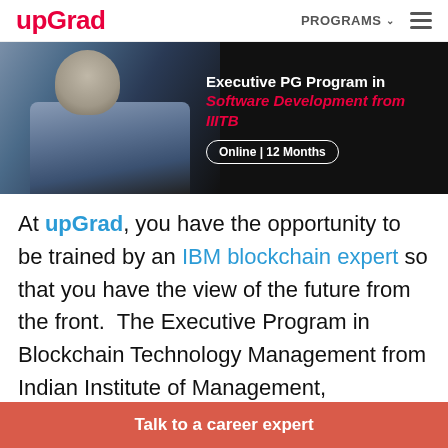upGrad | PROGRAMS
[Figure (infographic): Banner image showing a person at a computer with dark background. Text reads: Executive PG Program in Software Development from IIITB. Online | 12 Months.]
At upGrad, you have the opportunity to be trained by an IBM blockchain expert so that you have the view of the future from the front. The Executive Program in Blockchain Technology Management from Indian Institute of Management, Ghaziabad is the perfect way to
Talk to a career expert